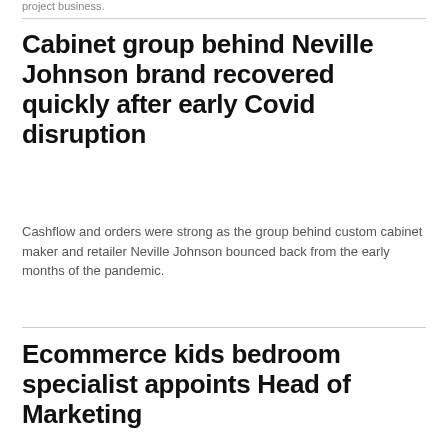project business.
Cabinet group behind Neville Johnson brand recovered quickly after early Covid disruption
Cashflow and orders were strong as the group behind custom cabinet maker and retailer Neville Johnson bounced back from the early months of the pandemic.
Ecommerce kids bedroom specialist appoints Head of Marketing